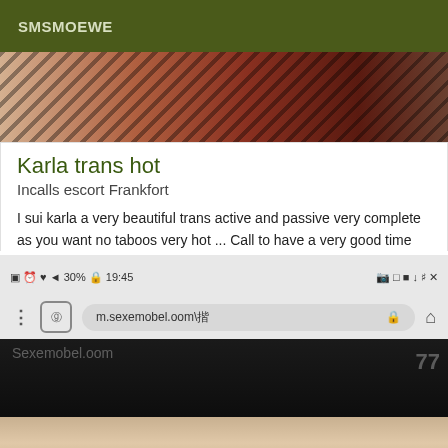SMSMOEWE
[Figure (photo): Partial photo showing a person in lingerie with dark wood background]
Karla trans hot
Incalls escort Frankfort
I sui karla a very beautiful trans active and passive very complete as you want no taboos very hot ... Call to have a very good time
[Figure (screenshot): Screenshot of a mobile browser showing m.sexemodel.com/esc URL bar with mirrored/reversed display, status bar with time 19:45, and partial dark photo below]